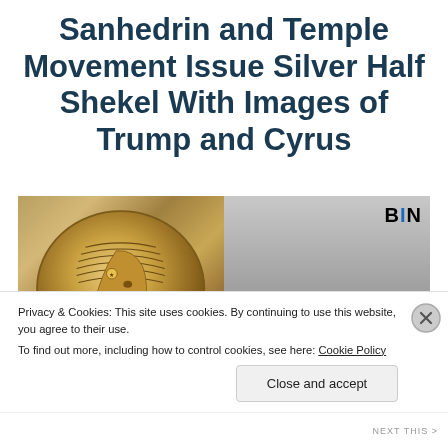Sanhedrin and Temple Movement Issue Silver Half Shekel With Images of Trump and Cyrus
[Figure (photo): Two-panel image: left panel shows a gold/silver coin relief depicting a classical profile figure (Cyrus the Great) with ornate headgear; right panel shows a photo of Donald Trump from behind/side with blonde hair, and 'BIN' logo in top right corner.]
Privacy & Cookies: This site uses cookies. By continuing to use this website, you agree to their use.
To find out more, including how to control cookies, see here: Cookie Policy
Close and accept